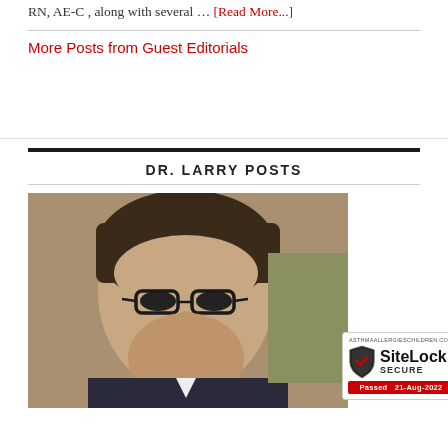RN, AE-C , along with several … [Read More...]
More Posts from Guest Editorials
DR. LARRY POSTS
[Figure (photo): Portrait photo of a man with dark curly hair and large glasses, smiling, wearing a suit. Overlaid with a SiteLock SECURE badge: Passed 21-Aug-2022.]